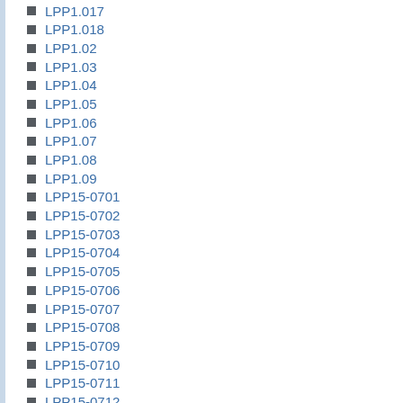LPP1.017
LPP1.018
LPP1.02
LPP1.03
LPP1.04
LPP1.05
LPP1.06
LPP1.07
LPP1.08
LPP1.09
LPP15-0701
LPP15-0702
LPP15-0703
LPP15-0704
LPP15-0705
LPP15-0706
LPP15-0707
LPP15-0708
LPP15-0709
LPP15-0710
LPP15-0711
LPP15-0712
LPP15-0713
LPP15-0715
LPP15-0716
LPP15-0717
LPP15-0718